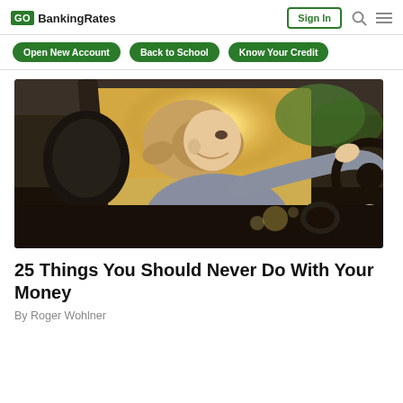GOBankingRates | Sign In
Open New Account | Back to School | Know Your Credit
[Figure (photo): A smiling woman with blonde hair in a ponytail sitting in the driver's seat of a car, reaching forward to grip the steering wheel. Sunlight streams through the windshield. Blurred outdoor scenery visible through windows.]
25 Things You Should Never Do With Your Money
By Roger Wohlner